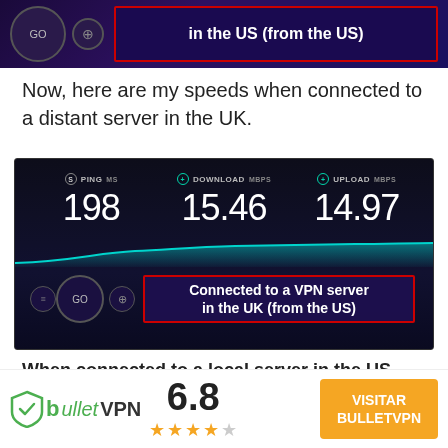[Figure (screenshot): Top cropped speed test screenshot showing GO button and label 'in the US (from the US)' in red-bordered box on dark purple background]
Now, here are my speeds when connected to a distant server in the UK.
[Figure (screenshot): Speed test result screenshot showing PING 198 ms, DOWNLOAD 15.46 Mbps, UPLOAD 14.97 Mbps on dark background with waveform, and label 'Connected to a VPN server in the UK (from the US)' in red-bordered box]
When connected to a local server in the US, my speeds decreased by only 7%. Websites instantly loaded. HD videos on YouTube started right away
[Figure (logo): bulletVPN logo with green shield icon and text, score 6.8 with 3.5 stars out of 5, and orange VISITAR BULLETVPN button]